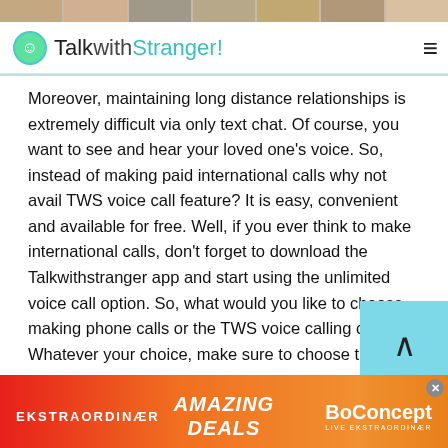[Figure (photo): Top strip of photo thumbnails showing people's faces]
TalkwithStranger!
Moreover, maintaining long distance relationships is extremely difficult via only text chat. Of course, you want to see and hear your loved one's voice. So, instead of making paid international calls why not avail TWS voice call feature? It is easy, convenient and available for free. Well, if you ever think to make international calls, don't forget to download the Talkwithstranger app and start using the unlimited voice call option. So, what would you like to choose making phone calls or the TWS voice calling option? Whatever your choice, make sure to choose the
[Figure (screenshot): Advertisement banner for BoConcept furniture: EKSTRAORDINÆR — AMAZING DEALS — BoConcept LIVE EKSTRAORDINÆR]